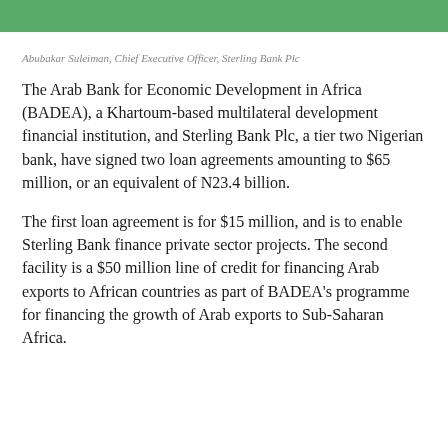[Figure (other): Green decorative header bar]
Abubakar Suleiman, Chief Executive Officer, Sterling Bank Plc
The Arab Bank for Economic Development in Africa (BADEA), a Khartoum-based multilateral development financial institution, and Sterling Bank Plc, a tier two Nigerian bank, have signed two loan agreements amounting to $65 million, or an equivalent of N23.4 billion.
The first loan agreement is for $15 million, and is to enable Sterling Bank finance private sector projects. The second facility is a $50 million line of credit for financing Arab exports to African countries as part of BADEA's programme for financing the growth of Arab exports to Sub-Saharan Africa.